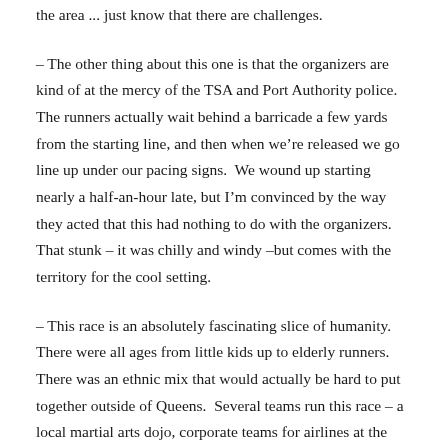the area ... just know that there are challenges.
– The other thing about this one is that the organizers are kind of at the mercy of the TSA and Port Authority police. The runners actually wait behind a barricade a few yards from the starting line, and then when we're released we go line up under our pacing signs. We wound up starting nearly a half-an-hour late, but I'm convinced by the way they acted that this had nothing to do with the organizers. That stunk – it was chilly and windy –but comes with the territory for the cool setting.
– This race is an absolutely fascinating slice of humanity. There were all ages from little kids up to elderly runners. There was an ethnic mix that would actually be hard to put together outside of Queens. Several teams run this race – a local martial arts dojo, corporate teams for airlines at the